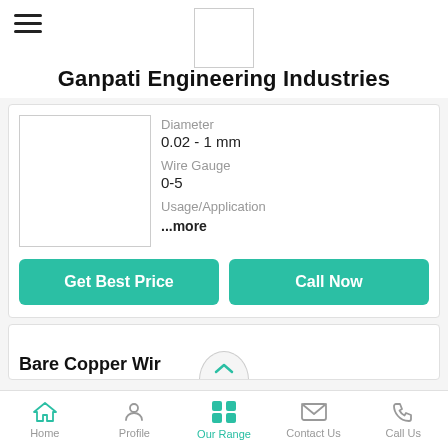[Figure (logo): Logo placeholder box top center]
Ganpati Engineering Industries
| Property | Value |
| --- | --- |
| Diameter | 0.02 - 1 mm |
| Wire Gauge | 0-5 |
| Usage/Application | ...more |
Get Best Price
Call Now
Bare Copper Wir...
Home  Profile  Our Range  Contact Us  Call Us